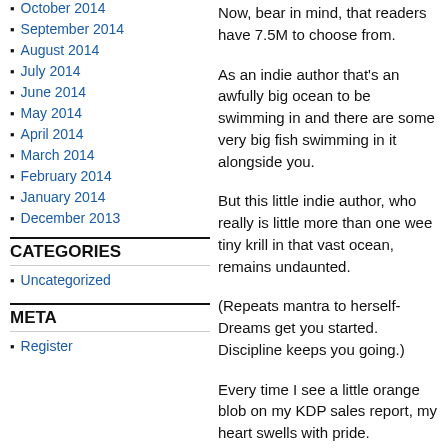October 2014
September 2014
August 2014
July 2014
June 2014
May 2014
April 2014
March 2014
February 2014
January 2014
December 2013
CATEGORIES
Uncategorized
META
Register
Now, bear in mind, that readers have 7.5M to choose from.
As an indie author that’s an awfully big ocean to be swimming in and there are some very big fish swimming in it alongside you.
But this little indie author, who really is little more than one wee tiny krill in that vast ocean, remains undaunted.
(Repeats mantra to herself- Dreams get you started. Discipline keeps you going.)
Every time I see a little orange blob on my KDP sales report, my heart swells with pride.